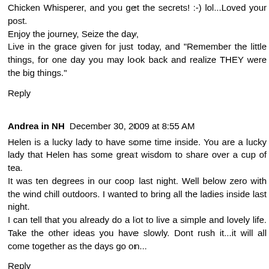Chicken Whisperer, and you get the secrets! :-) lol...Loved your post.
Enjoy the journey, Seize the day,
Live in the grace given for just today, and "Remember the little things, for one day you may look back and realize THEY were the big things."
Reply
Andrea in NH  December 30, 2009 at 8:55 AM
Helen is a lucky lady to have some time inside. You are a lucky lady that Helen has some great wisdom to share over a cup of tea.
It was ten degrees in our coop last night. Well below zero with the wind chill outdoors. I wanted to bring all the ladies inside last night.
I can tell that you already do a lot to live a simple and lovely life. Take the other ideas you have slowly. Dont rush it...it will all come together as the days go on...
Reply